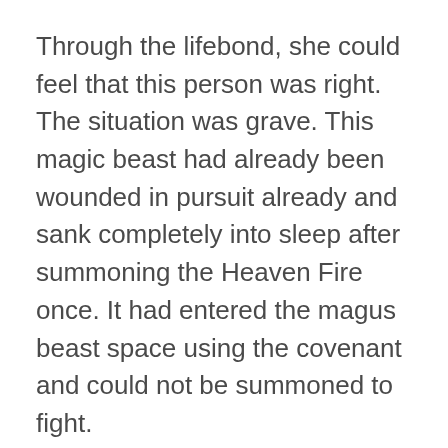Through the lifebond, she could feel that this person was right. The situation was grave. This magic beast had already been wounded in pursuit already and sank completely into sleep after summoning the Heaven Fire once. It had entered the magus beast space using the covenant and could not be summoned to fight.
At this time, the Green-Winged Grey Wolf that had been hiding for a while suddenly flew out of the corner and bared its fangs at the two auditors in a snarl. After Aofeng formed a lifebond covenant with the super-divine beast, the Green-Winged Grey Wolf naturally became